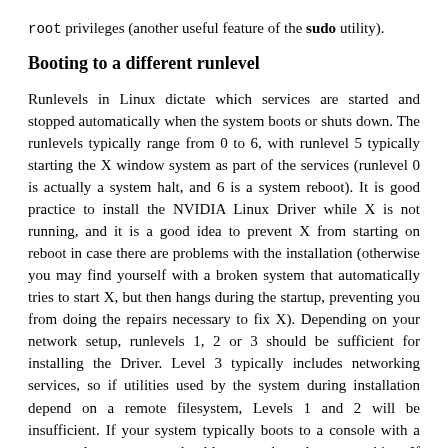root privileges (another useful feature of the sudo utility).
Booting to a different runlevel
Runlevels in Linux dictate which services are started and stopped automatically when the system boots or shuts down. The runlevels typically range from 0 to 6, with runlevel 5 typically starting the X window system as part of the services (runlevel 0 is actually a system halt, and 6 is a system reboot). It is good practice to install the NVIDIA Linux Driver while X is not running, and it is a good idea to prevent X from starting on reboot in case there are problems with the installation (otherwise you may find yourself with a broken system that automatically tries to start X, but then hangs during the startup, preventing you from doing the repairs necessary to fix X). Depending on your network setup, runlevels 1, 2 or 3 should be sufficient for installing the Driver. Level 3 typically includes networking services, so if utilities used by the system during installation depend on a remote filesystem, Levels 1 and 2 will be insufficient. If your system typically boots to a console with a command prompt, you should not need to change anything. If your system typically boots to the X window system with a graphical login and desktop, you must both exit X and change your default runlevel.
On most distributions, the default runlevel is stored in the file